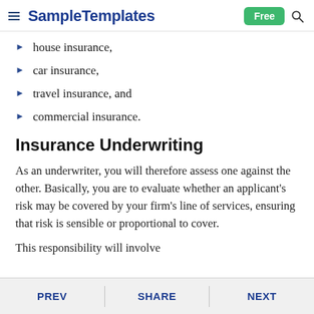SampleTemplates | Free
house insurance,
car insurance,
travel insurance, and
commercial insurance.
Insurance Underwriting
As an underwriter, you will therefore assess one against the other. Basically, you are to evaluate whether an applicant's risk may be covered by your firm's line of services, ensuring that risk is sensible or proportional to cover.
This responsibility will involve
PREV   SHARE   NEXT